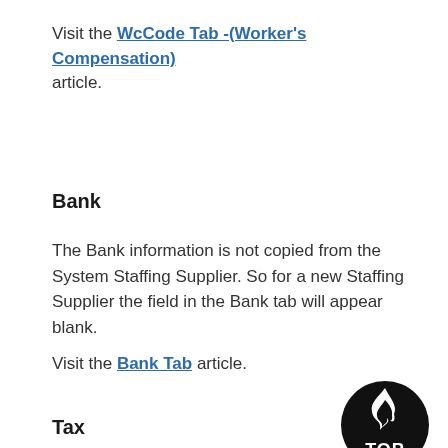Visit the WcCode Tab -(Worker's Compensation) article.
Bank
The Bank information is not copied from the System Staffing Supplier. So for a new Staffing Supplier the field in the Bank tab will appear blank.
Visit the Bank Tab article.
[Figure (logo): TOP logo — black circular badge with a flame/arrow icon and the word TOP in white letters]
Tax